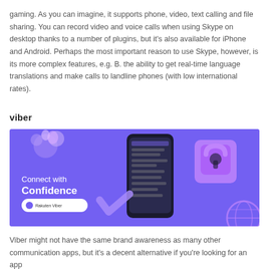gaming. As you can imagine, it supports phone, video, text calling and file sharing. You can record video and voice calls when using Skype on desktop thanks to a number of plugins, but it's also available for iPhone and Android. Perhaps the most important reason to use Skype, however, is its more complex features, e.g. B. the ability to get real-time language translations and make calls to landline phones (with low international rates).
viber
[Figure (illustration): Viber promotional banner with purple background showing a smartphone with chat interface, a padlock, a globe, decorative purple elements, the text 'Connect with Confidence', and a 'Rakuten Viber' button logo.]
Viber might not have the same brand awareness as many other communication apps, but it's a decent alternative if you're looking for an app